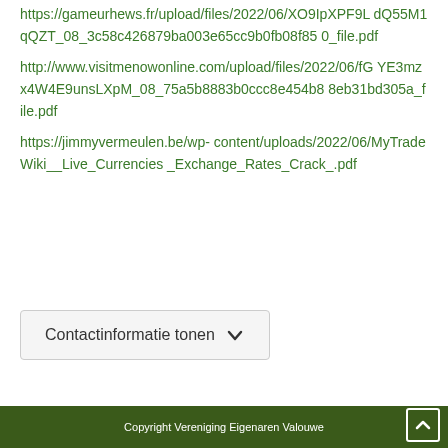https://gameurhews.fr/upload/files/2022/06/XO9IpXPF9LdQ55M1qQZT_08_3c58c426879ba003e65cc9b0fb08f850_file.pdf
http://www.visitmenowonline.com/upload/files/2022/06/fGYE3mzx4W4E9unsLXpM_08_75a5b8883b0ccc8e454b88eb31bd305a_file.pdf
https://jimmyvermeulen.be/wp-content/uploads/2022/06/MyTradeWiki__Live_Currencies_Exchange_Rates_Crack_.pdf
Contactinformatie tonen
Copyright Vereniging Eigenaren Valouwe